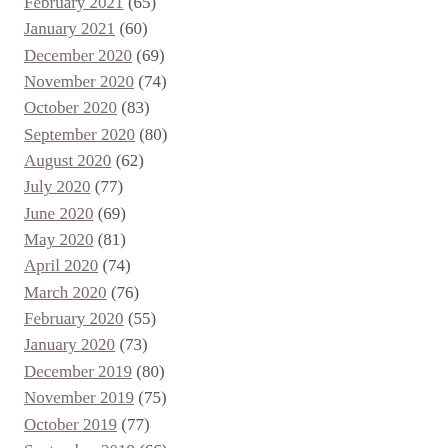February 2021 (65)
January 2021 (60)
December 2020 (69)
November 2020 (74)
October 2020 (83)
September 2020 (80)
August 2020 (62)
July 2020 (77)
June 2020 (69)
May 2020 (81)
April 2020 (74)
March 2020 (76)
February 2020 (55)
January 2020 (73)
December 2019 (80)
November 2019 (75)
October 2019 (77)
September 2019 (66)
August 2019 (54)